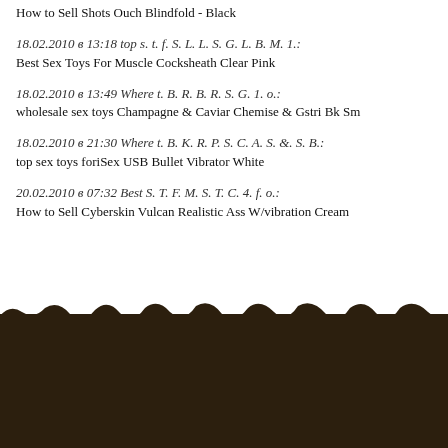How to Sell Shots Ouch Blindfold - Black
18.02.2010 в 13:18 top s. t. f. S. L. L. S. G. L. B. M. 1.:
Best Sex Toys For Muscle Cocksheath Clear Pink
18.02.2010 в 13:49 Where t. B. R. B. R. S. G. 1. o.:
wholesale sex toys Champagne & Caviar Chemise & Gstri Bk Sm
18.02.2010 в 21:30 Where t. B. K. R. P. S. C. A. S. &. S. B.:
top sex toys foriSex USB Bullet Vibrator White
20.02.2010 в 07:32 Best S. T. F. M. S. T. C. 4. f. o.:
How to Sell Cyberskin Vulcan Realistic Ass W/vibration Cream
Best Sex Toys For Premium All Access Leather Harness
As a most unusual year comes to an end, finance minister Nirmala Sitharaman is c… interventions to revive the economy are working and says reforms will continue wi…